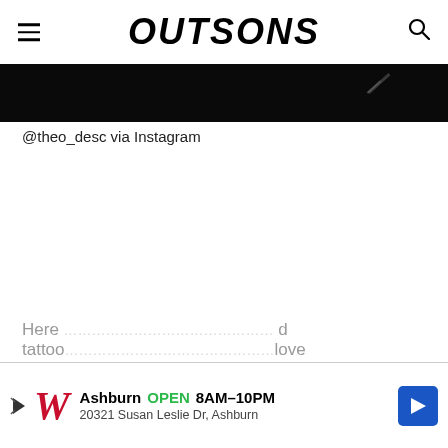OUTSONS
[Figure (photo): Dark/black image strip at the top of the article content area, partially cropped]
@theo_desc via Instagram
Here ... tattoo ... love
[Figure (infographic): Walgreens advertisement banner: Ashburn OPEN 8AM-10PM, 20321 Susan Leslie Dr, Ashburn]